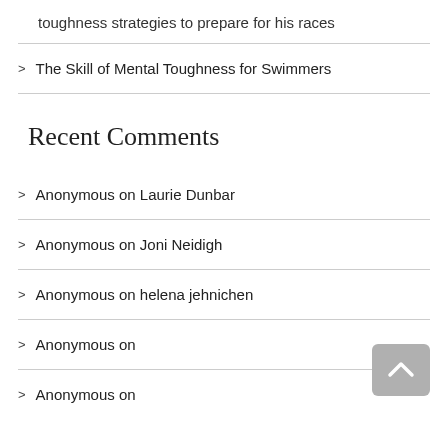toughness strategies to prepare for his races
> The Skill of Mental Toughness for Swimmers
Recent Comments
> Anonymous on Laurie Dunbar
> Anonymous on Joni Neidigh
> Anonymous on helena jehnichen
> Anonymous on
> Anonymous on